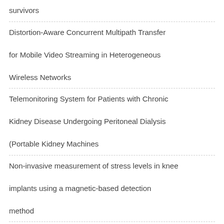survivors
Distortion-Aware Concurrent Multipath Transfer for Mobile Video Streaming in Heterogeneous Wireless Networks
Telemonitoring System for Patients with Chronic Kidney Disease Undergoing Peritoneal Dialysis (Portable Kidney Machines
Non-invasive measurement of stress levels in knee implants using a magnetic-based detection method
UR-SolarCap An Open Source Intelligent Auto-